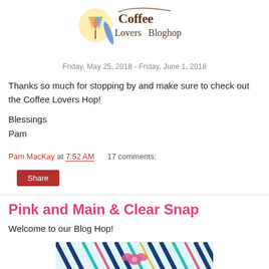[Figure (logo): Coffee Lovers Bloghop logo with colorful beach/summer graphics and stylized text]
Friday, May 25, 2018 - Friday, June 1, 2018
Thanks so much for stopping by and make sure to check out the Coffee Lovers Hop!
Blessings
Pam
Pam MacKay at 7:52 AM   17 comments:
Share
Pink and Main & Clear Snap
Welcome to our Blog Hop!
[Figure (photo): Colorful plaid/pattern banner image with teal, navy, pink and green diagonal stripes]